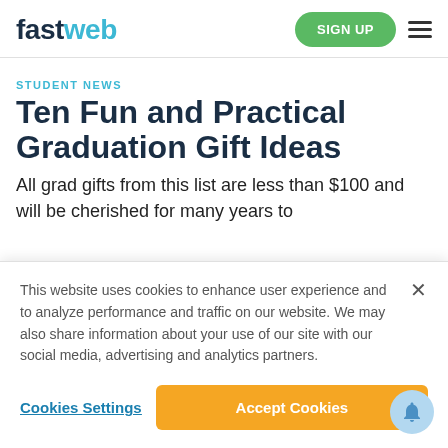fastweb | SIGN UP
STUDENT NEWS
Ten Fun and Practical Graduation Gift Ideas
All grad gifts from this list are less than $100 and will be cherished for many years to come. From Amazon to Etsy, find the perfect...
This website uses cookies to enhance user experience and to analyze performance and traffic on our website. We may also share information about your use of our site with our social media, advertising and analytics partners.
Cookies Settings
Accept Cookies